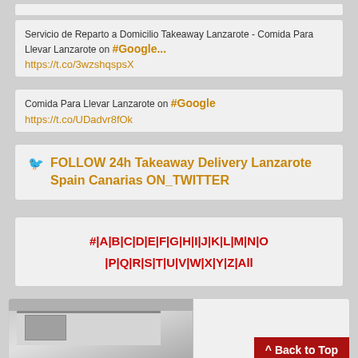Servicio de Reparto a Domicilio Takeaway Lanzarote - Comida Para Llevar Lanzarote on #Google... https://t.co/3wzshqspsX
Comida Para Llevar Lanzarote on #Google https://t.co/UDadvr8fOk
🐦 FOLLOW 24h Takeaway Delivery Lanzarote Spain Canarias ON_TWITTER
# | A | B | C | D | E | F | G | H | I | J | K | L | M | N | O | P | Q | R | S | T | U | V | W | X | Y | Z | All
[Figure (photo): Bottom section with a photo of a building and a red 'Back to Top' button]